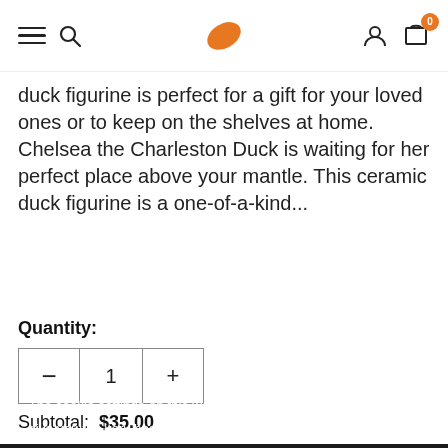Navigation bar with menu, search, logo, account, and cart (0 items)
duck figurine is perfect for a gift for your loved ones or to keep on the shelves at home. Chelsea the Charleston Duck is waiting for her perfect place above your mantle. This ceramic duck figurine is a one-of-a-kind...
Quantity: 1
Subtotal: $35.00
ADD TO CART
The cookie settings on this website are set to 'allow all cookies' to give you the very best experience. Please click Accept Cookies to continue to use the site.
PRIVACY POLICY   ACCEPT ✔
ADD TO WISH LIST
I agree with the terms and conditions